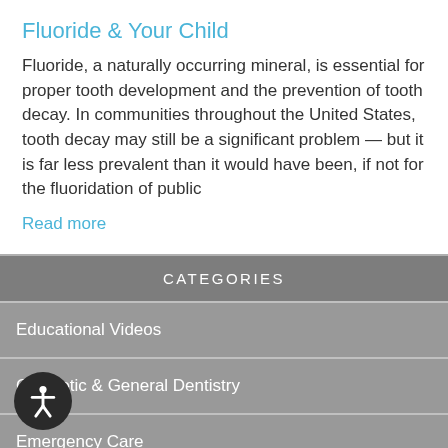Fluoride & Your Child
Fluoride, a naturally occurring mineral, is essential for proper tooth development and the prevention of tooth decay. In communities throughout the United States, tooth decay may still be a significant problem — but it is far less prevalent than it would have been, if not for the fluoridation of public
Read more
CATEGORIES
Educational Videos
Cosmetic & General Dentistry
Emergency Care
odontics